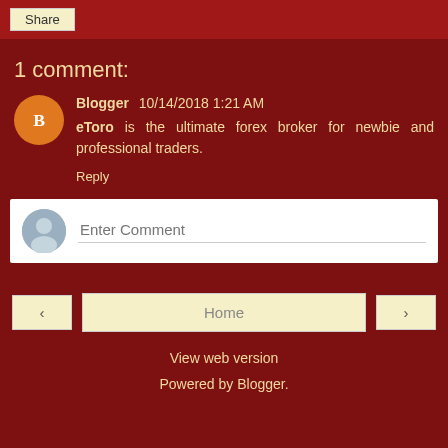[Figure (other): Share button bar at the top]
1 comment:
Blogger  10/14/2018 1:21 AM
eToro is the ultimate forex broker for newbie and professional traders.
Reply
[Figure (other): Enter Comment input box with generic user avatar]
< Home > View web version Powered by Blogger.